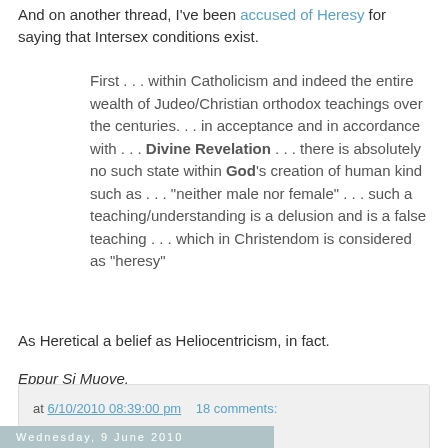And on another thread, I've been accused of Heresy for saying that Intersex conditions exist.
First . . . within Catholicism and indeed the entire wealth of Judeo/Christian orthodox teachings over the centuries. . . in acceptance and in accordance with . . . Divine Revelation . . . there is absolutely no such state within God's creation of human kind such as . . . "neither male nor female" . . . such a teaching/understanding is a delusion and is a false teaching . . . which in Christendom is considered as "heresy"
As Heretical a belief as Heliocentricism, in fact.
Eppur Si Muove.
at 6/10/2010 08:39:00 pm   18 comments:
Wednesday, 9 June 2010